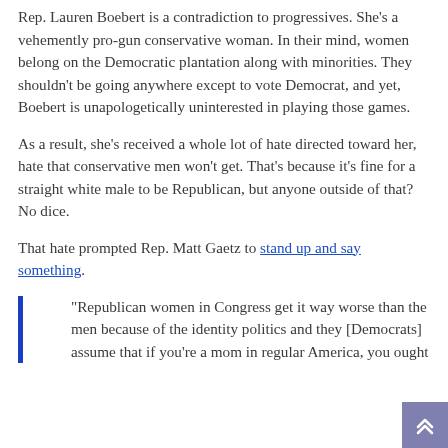Rep. Lauren Boebert is a contradiction to progressives. She's a vehemently pro-gun conservative woman. In their mind, women belong on the Democratic plantation along with minorities. They shouldn't be going anywhere except to vote Democrat, and yet, Boebert is unapologetically uninterested in playing those games.
As a result, she's received a whole lot of hate directed toward her, hate that conservative men won't get. That's because it's fine for a straight white male to be Republican, but anyone outside of that? No dice.
That hate prompted Rep. Matt Gaetz to stand up and say something.
“Republican women in Congress get it way worse than the men because of the identity politics and they [Democrats] assume that if you’re a mom in regular America, you ought